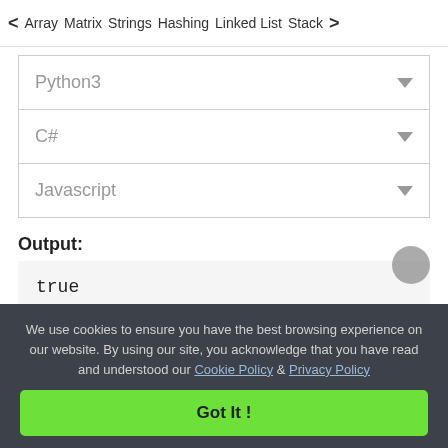< Array   Matrix   Strings   Hashing   Linked List   Stack >
Python3
C#
Javascript
Output:
true
We use cookies to ensure you have the best browsing experience on our website. By using our site, you acknowledge that you have read and understood our Cookie Policy & Privacy Policy
Got It !